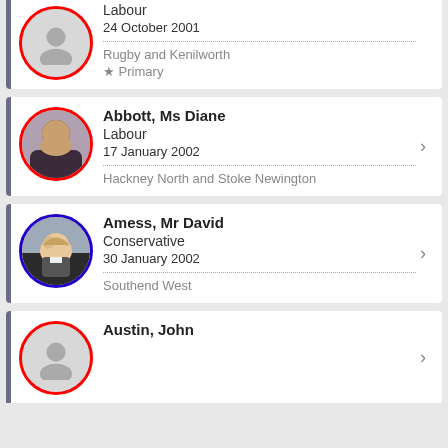Labour | 24 October 2001 | Rugby and Kenilworth | Primary
Abbott, Ms Diane | Labour | 17 January 2002 | Hackney North and Stoke Newington
Amess, Mr David | Conservative | 30 January 2002 | Southend West
Austin, John